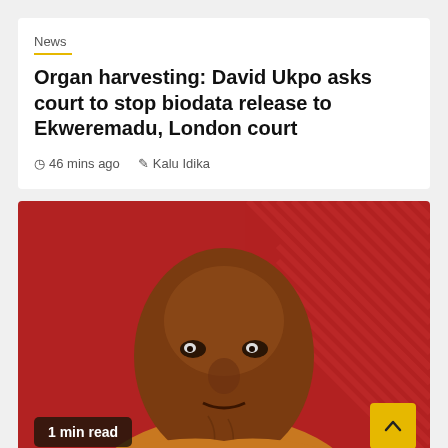News
Organ harvesting: David Ukpo asks court to stop biodata release to Ekweremadu, London court
46 mins ago   Kalu Idika
[Figure (photo): Portrait photo of a man in an orange/mustard top against a red background with diagonal stripe pattern. A '1 min read' badge is shown at bottom left and a yellow scroll-up button at bottom right.]